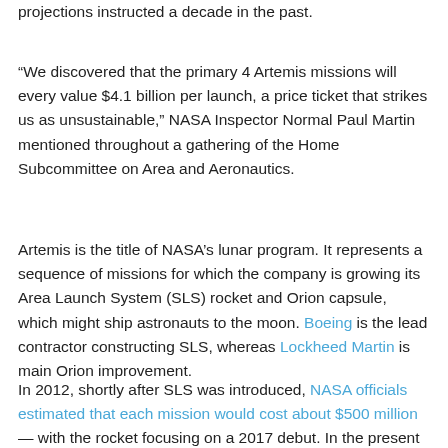projections instructed a decade in the past.
“We discovered that the primary 4 Artemis missions will every value $4.1 billion per launch, a price ticket that strikes us as unsustainable,” NASA Inspector Normal Paul Martin mentioned throughout a gathering of the Home Subcommittee on Area and Aeronautics.
Artemis is the title of NASA’s lunar program. It represents a sequence of missions for which the company is growing its Area Launch System (SLS) rocket and Orion capsule, which might ship astronauts to the moon. Boeing is the lead contractor constructing SLS, whereas Lockheed Martin is main Orion improvement.
In 2012, shortly after SLS was introduced, NASA officials estimated that each mission would cost about $500 million — with the rocket focusing on a 2017 debut. In the present day,